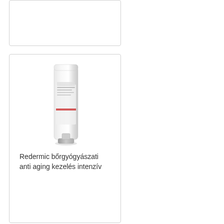[Figure (photo): Top card placeholder, empty product card with border]
[Figure (photo): La Roche-Posay Redermic cosmetic tube product photo, white tube with silver cap]
Redermic bőrgyógyászati anti aging kezelés intenzív